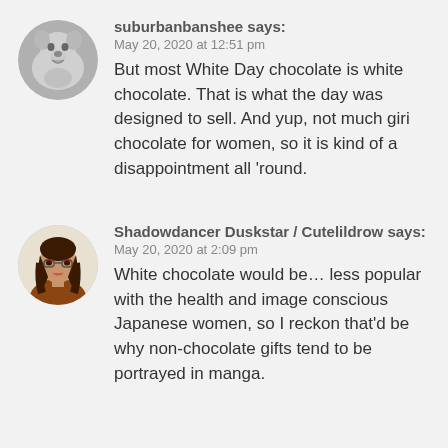[Figure (photo): Round avatar image of a white dog/husky]
suburbanbanshee says:
May 20, 2020 at 12:51 pm
But most White Day chocolate is white chocolate. That is what the day was designed to sell. And yup, not much giri chocolate for women, so it is kind of a disappointment all 'round.
[Figure (illustration): Round avatar illustration of a woman with brown hair and glasses]
Shadowdancer Duskstar / Cutelildrow says:
May 20, 2020 at 2:09 pm
White chocolate would be… less popular with the health and image conscious Japanese women, so I reckon that'd be why non-chocolate gifts tend to be portrayed in manga.